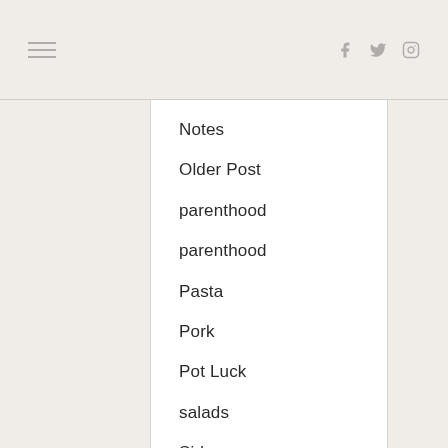≡ navigation header with social icons (Facebook, Twitter, Instagram)
Notes
Older Post
parenthood
parenthood
Pasta
Pork
Pot Luck
salads
Sides
Slow Cooker
Soups
summer
Thai
travel